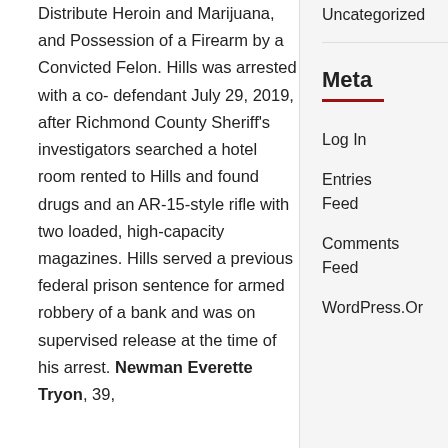Distribute Heroin and Marijuana, and Possession of a Firearm by a Convicted Felon. Hills was arrested with a co-defendant July 29, 2019, after Richmond County Sheriff's investigators searched a hotel room rented to Hills and found drugs and an AR-15-style rifle with two loaded, high-capacity magazines. Hills served a previous federal prison sentence for armed robbery of a bank and was on supervised release at the time of his arrest. Newman Everette Tryon, 39,
Uncategorized
Meta
Log In
Entries Feed
Comments Feed
WordPress.Or